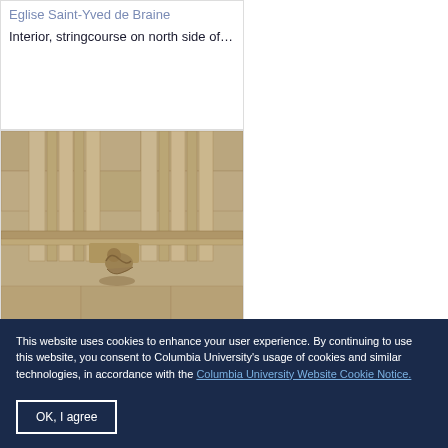Eglise Saint-Yved de Braine
Interior, stringcourse on north side of…
[Figure (photo): Black and white photograph of the interior architectural detail of Eglise Saint-Yved de Braine, showing stone columns, ribbed moldings, and a carved figure (corbel or capital) on the north side stringcourse.]
This website uses cookies to enhance your user experience. By continuing to use this website, you consent to Columbia University's usage of cookies and similar technologies, in accordance with the Columbia University Website Cookie Notice.
OK, I agree